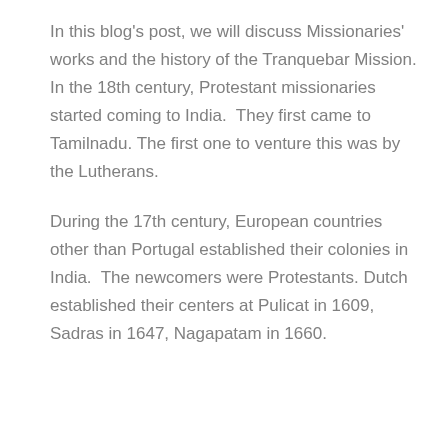In this blog's post, we will discuss Missionaries' works and the history of the Tranquebar Mission. In the 18th century, Protestant missionaries started coming to India.  They first came to Tamilnadu. The first one to venture this was by the Lutherans.
During the 17th century, European countries other than Portugal established their colonies in India.  The newcomers were Protestants. Dutch established their centers at Pulicat in 1609, Sadras in 1647, Nagapatam in 1660.